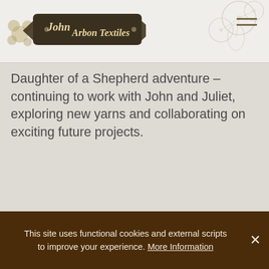[Figure (logo): John Arbon Textiles logo — decorative banner with floral motifs and company name]
Daughter of a Shepherd adventure – continuing to work with John and Juliet, exploring new yarns and collaborating on exciting future projects.
This site uses functional cookies and external scripts to improve your experience. More Information